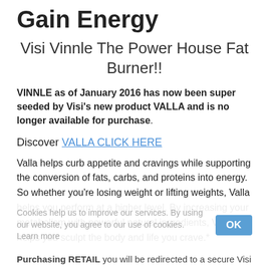Gain Energy
Visi Vinnle The Power House Fat Burner!!
VINNLE as of January 2016 has now been super seeded by Visi's new product VALLA and is no longer available for purchase.
Discover VALLA CLICK HERE
Valla helps curb appetite and cravings while supporting the conversion of fats, carbs, and proteins into energy. So whether you're losing weight or lifting weights, Valla helps you perform at a higher level. By increasing your metabolism with powerful natural ingredients, Valla helps you sculpt the body and life you crave.*
Cookies help us to improve our services. By using our website, you agree to our use of cookies. Learn more
Purchasing RETAIL you will be redirected to a secure Visi